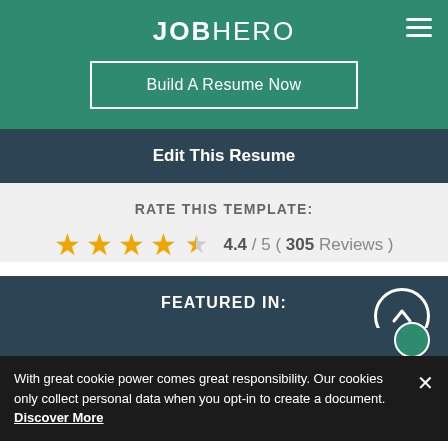JOBHERO
Build A Resume Now
Edit This Resume
RATE THIS TEMPLATE:
4.4 / 5 ( 305 Reviews )
FEATURED IN:
With great cookie power comes great responsibility. Our cookies only collect personal data when you opt-in to create a document. Discover More